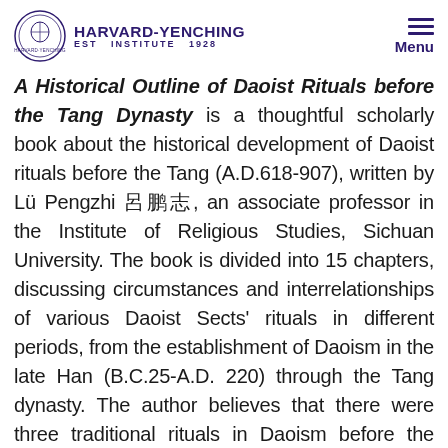Harvard-Yenching Institute
A Historical Outline of Daoist Rituals before the Tang Dynasty is a thoughtful scholarly book about the historical development of Daoist rituals before the Tang (A.D.618-907), written by Lü Pengzhi 呂鵬志, an associate professor in the Institute of Religious Studies, Sichuan University. The book is divided into 15 chapters, discussing circumstances and interrelationships of various Daoist Sects' rituals in different periods, from the establishment of Daoism in the late Han (B.C.25-A.D. 220) through the Tang dynasty. The author believes that there were three traditional rituals in Daoism before the Tang, namely the ritual of the Way of Celestial Masters (tianshidao yishi 天師道儀式),